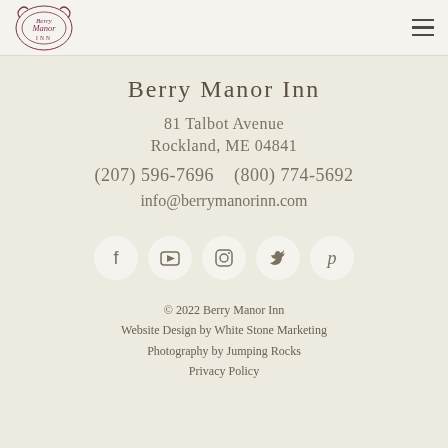Berry Manor Inn logo and navigation
Berry Manor Inn
81 Talbot Avenue
Rockland, ME 04841
(207) 596-7696   (800) 774-5692
info@berrymanorinn.com
[Figure (infographic): Row of five social media icon circles: Facebook, YouTube, Instagram, Twitter, Pinterest]
© 2022 Berry Manor Inn
Website Design by White Stone Marketing
Photography by Jumping Rocks
Privacy Policy